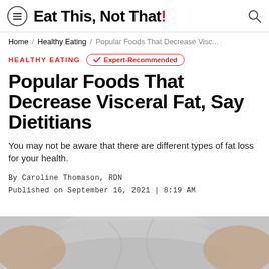Eat This, Not That!
Home / Healthy Eating / Popular Foods That Decrease Visc...
HEALTHY EATING
✓ Expert-Recommended
Popular Foods That Decrease Visceral Fat, Say Dietitians
You may not be aware that there are different types of fat loss for your health.
By Caroline Thomason, RDN
Published on September 16, 2021 | 8:19 AM
[Figure (photo): Cropped photo of a person's midsection wearing a grey t-shirt, showing abdominal area]